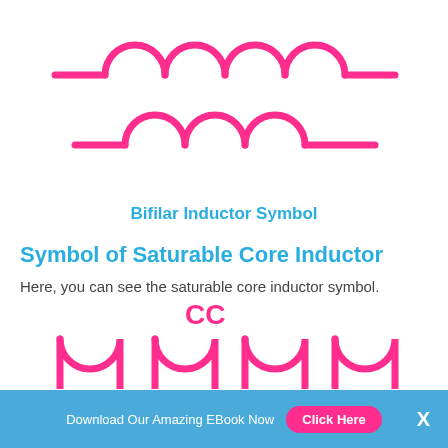[Figure (schematic): Bifilar inductor symbol: two rows of coil arcs in magenta/pink, showing a dual-winding inductor schematic symbol with horizontal leads on each side]
Bifilar Inductor Symbol
Symbol of Saturable Core Inductor
Here, you can see the saturable core inductor symbol.
[Figure (schematic): Saturable core inductor symbol: partial view showing pink coil arcs pointing downward with CC label above, representing a saturable core inductor schematic]
Download Our Amazing EBook Now   Click Here